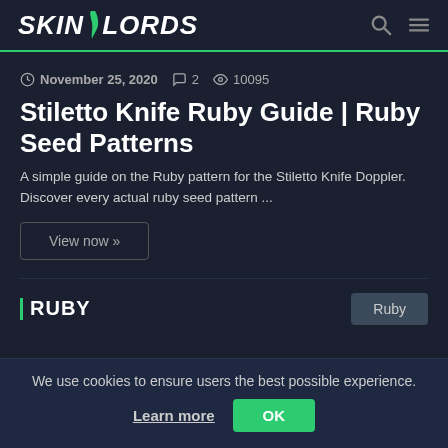SKINLORDS
November 25, 2020  2  10095
Stiletto Knife Ruby Guide | Ruby Seed Patterns
A simple guide on the Ruby pattern for the Stiletto Knife Doppler. Discover every actual ruby seed pattern ...
View now »
| RUBY
Ruby
We use cookies to ensure users the best possible experience.
Learn more  OK